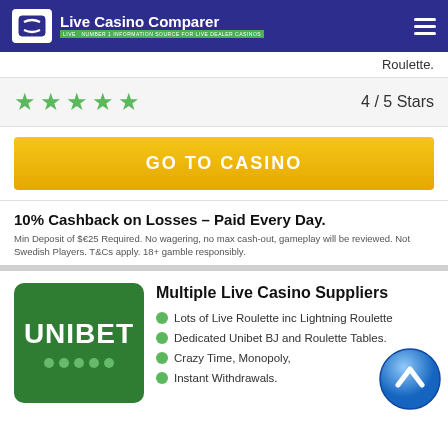Live Casino Comparer — NUMBER 1 INFORMATION SOURCE FOR LIVE DEALER CASINOS
Roulette.
4 / 5 Stars
GO TO CASINO
10% Cashback on Losses – Paid Every Day.
Min Deposit of $€25 Required. No wagering, no max cash-out, gameplay will be reviewed. Not Swedish Players. T&Cs apply. 18+ gamble responsibly.
[Figure (logo): Unibet casino logo — white text 'UNIBET' on green rounded square background with green dots below]
Multiple Live Casino Suppliers
Lots of Live Roulette inc Lightning Roulette
Dedicated Unibet BJ and Roulette Tables.
Crazy Time, Monopoly,
Instant Withdrawals.